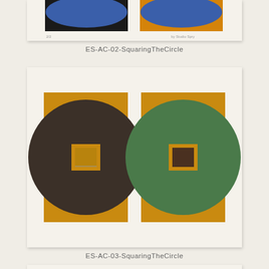[Figure (illustration): Top portion of an artwork card showing two abstract prints with blue circles on black and orange backgrounds - 'Squaring The Circle' series]
ES-AC-02-SquaringTheCircle
[Figure (illustration): Artwork card showing two abstract prints side by side: left print has a dark brown/black circle on golden/yellow square background with a small yellow square in center; right print has a green circle on golden/yellow square background with a small dark square in center. 'Squaring The Circle' series.]
ES-AC-03-SquaringTheCircle
[Figure (illustration): Bottom edge of a third artwork card, partially visible at the bottom of the page.]